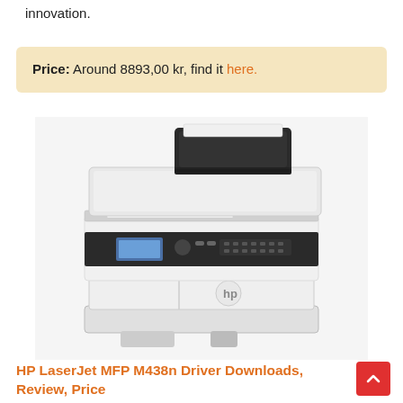innovation.
Price: Around 8893,00 kr, find it here.
[Figure (photo): HP LaserJet MFP M438n multifunction laser printer, white and black, with document feeder on top, control panel with LCD screen, paper trays at bottom.]
HP LaserJet MFP M438n Driver Downloads, Review, Price